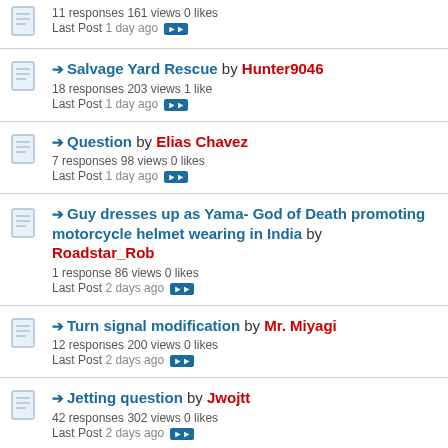Salvage Yard Rescue by Hunter9046 — 18 responses 203 views 1 like — Last Post 1 day ago
Question by Elias Chavez — 7 responses 98 views 0 likes — Last Post 1 day ago
Guy dresses up as Yama- God of Death promoting motorcycle helmet wearing in India by Roadstar_Rob — 1 response 86 views 0 likes — Last Post 2 days ago
Turn signal modification by Mr. Miyagi — 12 responses 200 views 0 likes — Last Post 2 days ago
Jetting question by Jwojtt — 42 responses 302 views 0 likes — Last Post 2 days ago
knocking and vibration by old biker Stu — 45 responses 351 views 0 likes — Last Post 3 days ago